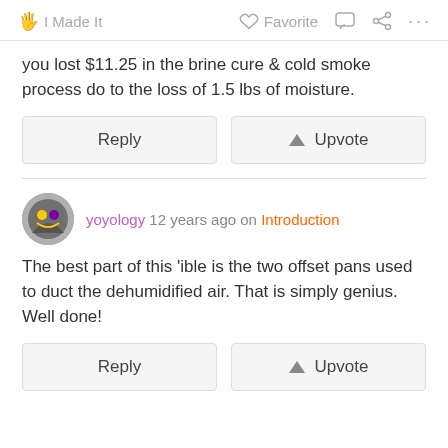I Made It  Favorite  ...
you lost $11.25 in the brine cure & cold smoke process do to the loss of 1.5 lbs of moisture.
Reply  Upvote
yoyology 12 years ago on Introduction
The best part of this 'ible is the two offset pans used to duct the dehumidified air.  That is simply genius.  Well done!
Reply  Upvote